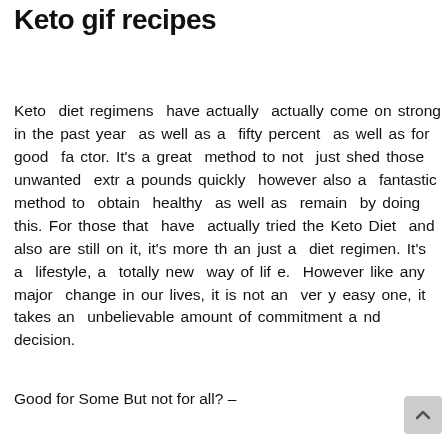Keto gif recipes
Keto diet regimens have actually actually come on strong in the past year as well as a fifty percent as well as for good factor. It's a great method to not just shed those unwanted extra pounds quickly however also a fantastic method to obtain healthy as well as remain by doing this. For those that have actually tried the Keto Diet and also are still on it, it's more than just a diet regimen. It's a lifestyle, a totally new way of life. However like any major change in our lives, it is not an very easy one, it takes an unbelievable amount of commitment and decision.
Good for Some But not for all? –